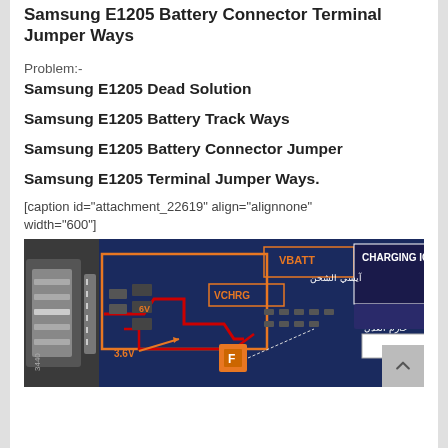Samsung E1205 Battery Connector Terminal Jumper Ways
Problem:-
Samsung E1205 Dead Solution
Samsung E1205 Battery Track Ways
Samsung E1205 Battery Connector Jumper
Samsung E1205 Terminal Jumper Ways.
[caption id="attachment_22619" align="alignnone" width="600"]
[Figure (engineering-diagram): Close-up photo of Samsung E1205 PCB showing battery connector area with orange/red jumper wire annotations, labels for VBATT, VCHRG, CHARGING IC, 3.6V, and Arabic text labels]